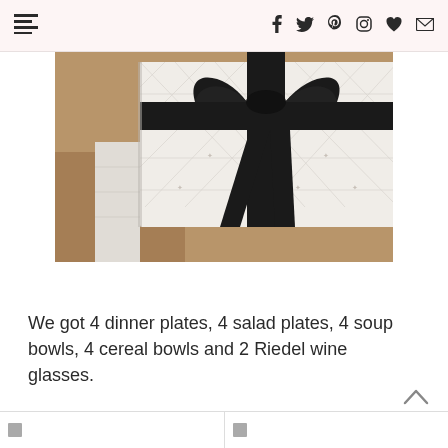Navigation bar with hamburger menu icon and social icons: f (Facebook), Twitter bird, Pinterest, Instagram, heart, envelope
[Figure (photo): A white gift box with a black ribbon tied in a bow, sitting on a brown/tan carpet. The box has a quilted pattern with small insect/bee motifs.]
We got 4 dinner plates, 4 salad plates, 4 soup bowls, 4 cereal bowls and 2 Riedel wine glasses.
Bottom navigation thumbnails with previous/next article links